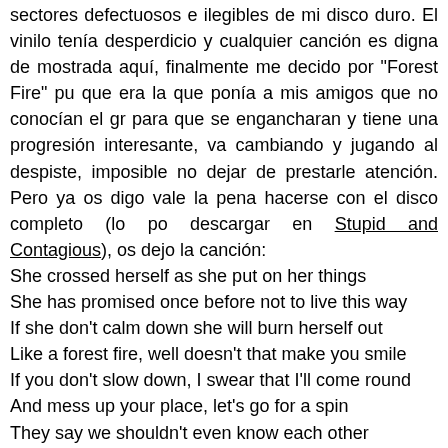sectores defectuosos e ilegibles de mi disco duro. El vinilo tenía desperdicio y cualquier canción es digna de mostrada aquí, finalmente me decido por "Forest Fire" pu que era la que ponía a mis amigos que no conocían el gr para que se engancharan y tiene una progresión interesante, va cambiando y jugando al despiste, imposible no dejar de prestarle atención. Pero ya os digo vale la pena hacerse con el disco completo (lo po descargar en Stupid and Contagious), os dejo la canción:
She crossed herself as she put on her things
She has promised once before not to live this way
If she don't calm down she will burn herself out
Like a forest fire, well doesn't that make you smile
If you don't slow down, I swear that I'll come round
And mess up your place, let's go for a spin
They say we shouldn't even know each other
And that we'll be undone
Don't it make you smile like a forest fire
I believe in love, I'll believe in anything